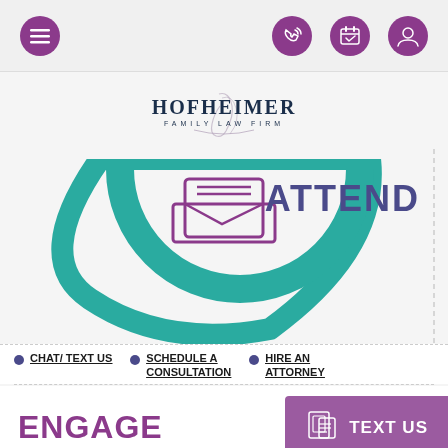Navigation header with menu, phone, calendar, and account icons
[Figure (logo): Hofheimer Family Law Firm logo with stylized H script overlay]
[Figure (infographic): Teal semicircle with purple inbox/tray icon and ATTEND text, dashed border on right]
CHAT/ TEXT US
SCHEDULE A CONSULTATION
HIRE AN ATTORNEY
ENGAGE
[Figure (infographic): Text Us button with mobile device icon, purple background]
SCHEDULE YOUR CONSULTATION